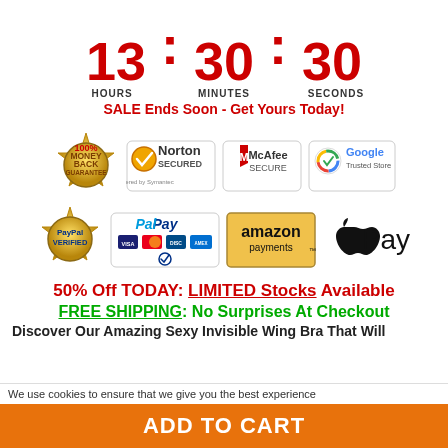[Figure (infographic): Countdown timer showing 13 hours, 30 minutes, 30 seconds with red numbers]
SALE Ends Soon - Get Yours Today!
[Figure (infographic): Trust badges row: 100% Money Back Guarantee, Norton Secured powered by Symantec, McAfee Secure, Google Trusted Store]
[Figure (infographic): Payment badges row: PayPal Verified, PayPal with Visa/MC/Discover/Amex, Amazon Payments, Apple Pay]
50% Off TODAY: LIMITED Stocks Available
FREE SHIPPING: No Surprises At Checkout
Discover Our Amazing Sexy Invisible Wing Bra That Will
We use cookies to ensure that we give you the best experience
ADD TO CART